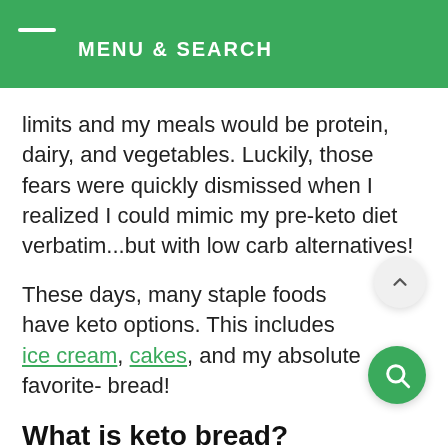MENU & SEARCH
limits and my meals would be protein, dairy, and vegetables. Luckily, those fears were quickly dismissed when I realized I could mimic my pre-keto diet verbatim...but with low carb alternatives!
These days, many staple foods have keto options. This includes ice cream, cakes, and my absolute favorite- bread!
What is keto bread?
As the name suggests, keto bread is a low carb alternative to a traditional sandwich and toast bread. Unlike the traditional kind, it doesn't